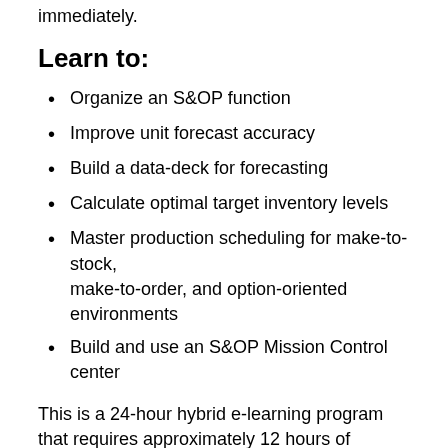immediately.
Learn to:
Organize an S&OP function
Improve unit forecast accuracy
Build a data-deck for forecasting
Calculate optimal target inventory levels
Master production scheduling for make-to-stock, make-to-order, and option-oriented environments
Build and use an S&OP Mission Control center
This is a 24-hour hybrid e-learning program that requires approximately 12 hours of additional reading, studying, and introspective work. The Live+Online sessions are scheduled over 6 weeks to allow you to continue working in parallel.